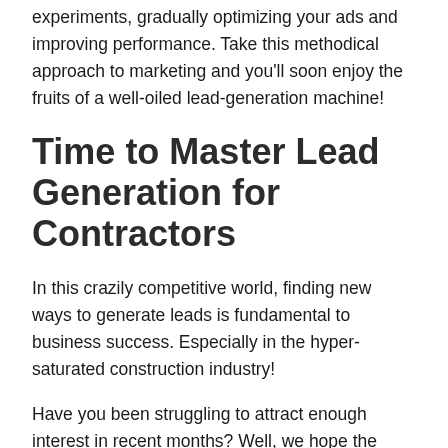experiments, gradually optimizing your ads and improving performance. Take this methodical approach to marketing and you'll soon enjoy the fruits of a well-oiled lead-generation machine!
Time to Master Lead Generation for Contractors
In this crazily competitive world, finding new ways to generate leads is fundamental to business success. Especially in the hyper-saturated construction industry!
Have you been struggling to attract enough interest in recent months? Well, we hope the insights on lead generation for contractors in this article will make a difference. Get to grips with strategies such as content marketing, social media, and A/B testing, and it shouldn't be long before you turn the situation around